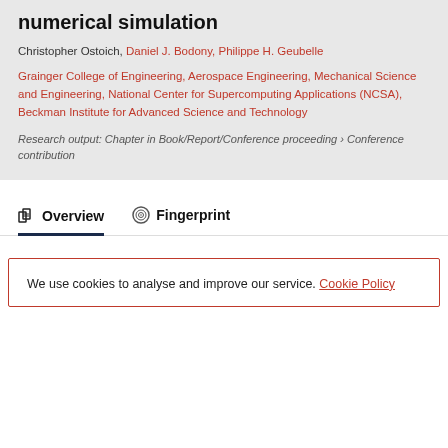numerical simulation
Christopher Ostoich, Daniel J. Bodony, Philippe H. Geubelle
Grainger College of Engineering, Aerospace Engineering, Mechanical Science and Engineering, National Center for Supercomputing Applications (NCSA), Beckman Institute for Advanced Science and Technology
Research output: Chapter in Book/Report/Conference proceeding › Conference contribution
Overview
Fingerprint
We use cookies to analyse and improve our service. Cookie Policy